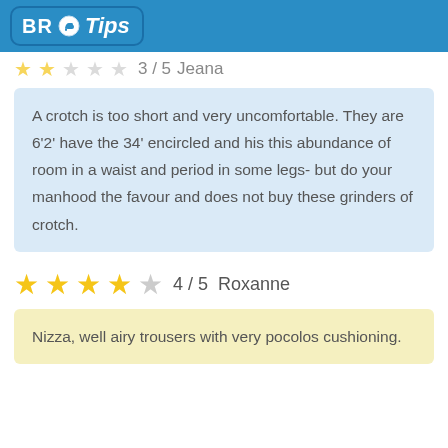BR Tips
3 / 5   Jeana
A crotch is too short and very uncomfortable. They are 6'2' have the 34' encircled and his this abundance of room in a waist and period in some legs- but do your manhood the favour and does not buy these grinders of crotch.
4 / 5   Roxanne
Nizza, well airy trousers with very pocolos cushioning.